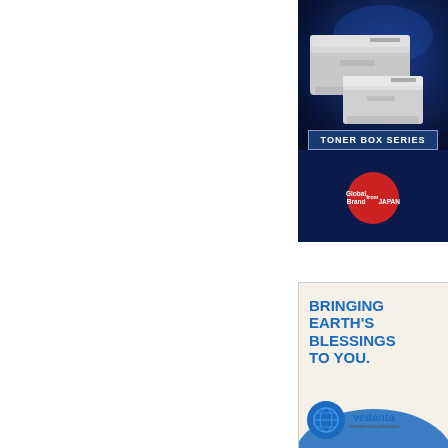[Figure (advertisement): Brother Toner Box Series printer advertisement on dark blue background. Shows two Brother laser printers (grey/white), a 'TONER BOX SERIES' label banner, and a red circular badge reading 'Global Brand from JAPAN'.]
[Figure (advertisement): Vedanta advertisement with light beige/cream background. Bold blue text reads 'BRINGING EARTH'S BLESSINGS TO YOU.' with the Vedanta logo (globe icon) and brand name 'vedanta' with tagline 'transforming education'.]